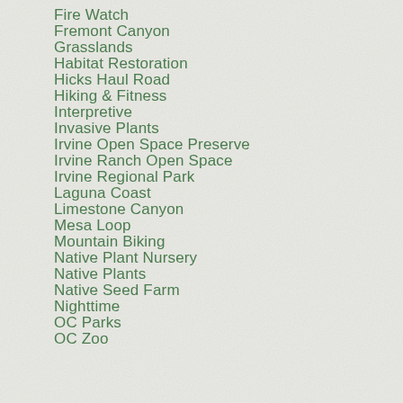Fire Watch
Fremont Canyon
Grasslands
Habitat Restoration
Hicks Haul Road
Hiking & Fitness
Interpretive
Invasive Plants
Irvine Open Space Preserve
Irvine Ranch Open Space
Irvine Regional Park
Laguna Coast
Limestone Canyon
Mesa Loop
Mountain Biking
Native Plant Nursery
Native Plants
Native Seed Farm
Nighttime
OC Parks
OC Zoo